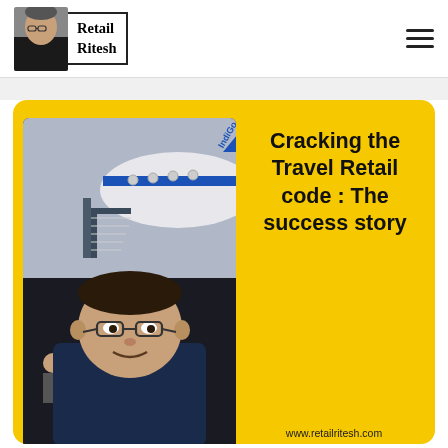Retail Ritesh
[Figure (photo): Man taking selfie in front of an IndiGo airplane at an airport gate, people visible in background]
Cracking the Travel Retail code : The success story
www.retailritesh.com